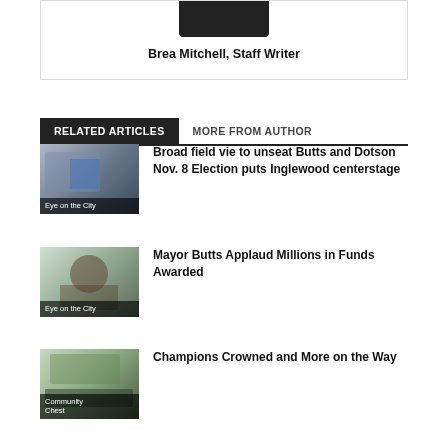[Figure (photo): Author photo of Brea Mitchell, partially cropped, dark background]
Brea Mitchell, Staff Writer
RELATED ARTICLES
MORE FROM AUTHOR
[Figure (photo): Photo of crowd scene with a person in blue shirt; labeled 'Eye on the City']
Broad field vie to unseat Butts and Dotson Nov. 8 Election puts Inglewood centerstage
[Figure (photo): Photo of a man outdoors; labeled 'Eye on the City']
Mayor Butts Applaud Millions in Funds Awarded
[Figure (photo): Photo of group outdoors; labeled 'Community Chest']
Champions Crowned and More on the Way